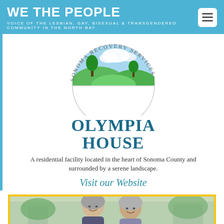WE THE PEOPLE
VOICE OF THE LESBIAN, GAY, BISEXUAL & TRANSGENDERED COMMUNITY IN THE NORTH BAY
[Figure (logo): Sonoma Recovery Services circular logo with landscape scene showing green hills and trees under blue sky, with text arcing around the top reading SONOMA RECOVERY SERVICES]
OLYMPIA HOUSE
A residential facility located in the heart of Sonoma County and surrounded by a serene landscape.
Visit our Website
[Figure (photo): Two older women smiling outdoors, photographed from shoulders up, with trees and buildings in background, framed with yellow/gold border]